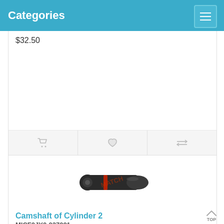Categories
$32.50
[Figure (photo): Camshaft of Cylinder 2 product photo showing a black cylindrical engine part with red ring, watermarked]
Camshaft of Cylinder 2
MICF0JY0-027001
CF Moto listed part number is 0JY0-027001 It may fits ATV 2018 CF1000ATR CForce 1000 ATV 2019 CF1000ATR CForce 10..
$32.50